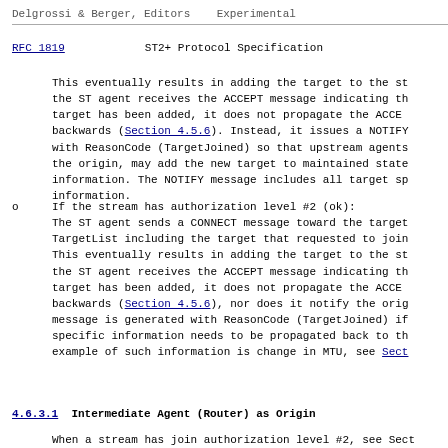Delgrossi & Berger, Editors    Experimental
RFC 1819                  ST2+ Protocol Specification
This eventually results in adding the target to the st the ST agent receives the ACCEPT message indicating th target has been added, it does not propagate the ACCE backwards (Section 4.5.6). Instead, it issues a NOTIFY with ReasonCode (TargetJoined) so that upstream agents the origin, may add the new target to maintained state information. The NOTIFY message includes all target sp information.
o   If the stream has authorization level #2 (ok): The ST agent sends a CONNECT message toward the target TargetList including the target that requested to join This eventually results in adding the target to the st the ST agent receives the ACCEPT message indicating th target has been added, it does not propagate the ACCE backwards (Section 4.5.6), nor does it notify the orig message is generated with ReasonCode (TargetJoined) if specific information needs to be propagated back to th example of such information is change in MTU, see Sect
4.6.3.1  Intermediate Agent (Router) as Origin
When a stream has join authorization level #2, see Sect